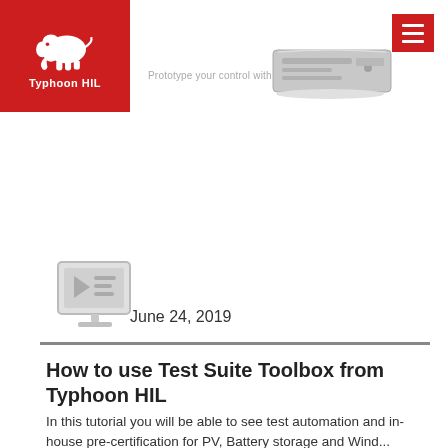Typhoon HIL — Prototype your control with ease
[Figure (photo): Typhoon HIL logo with white elephant on red background]
[Figure (illustration): Gray hardware device/appliance illustration]
[Figure (illustration): Gray monitor/screen icon with play button and list items]
June 24, 2019
How to use Test Suite Toolbox from Typhoon HIL
In this tutorial you will be able to see test automation and in-house pre-certification for PV, Battery storage and Wind...